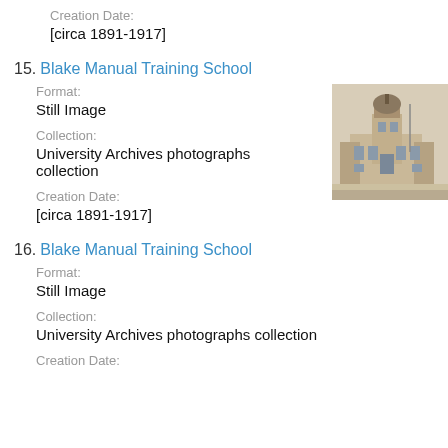Creation Date:
[circa 1891-1917]
15. Blake Manual Training School
Format:
Still Image
Collection:
University Archives photographs collection
Creation Date:
[circa 1891-1917]
[Figure (photo): Historic black and white photograph of Blake Manual Training School building, showing a Victorian-style structure with a domed tower.]
16. Blake Manual Training School
Format:
Still Image
Collection:
University Archives photographs collection
Creation Date: